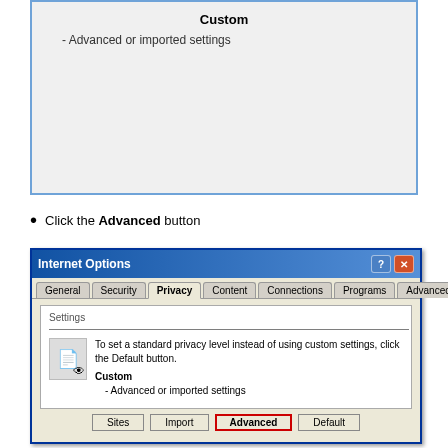[Figure (screenshot): Internet Explorer Internet Options dialog screenshot showing the Privacy tab with Custom settings - Advanced or imported settings]
Click the Advanced button
[Figure (screenshot): Internet Options dialog showing Privacy tab with Settings section, Custom - Advanced or imported settings, and buttons: Sites, Import, Advanced (highlighted with red border), Default]